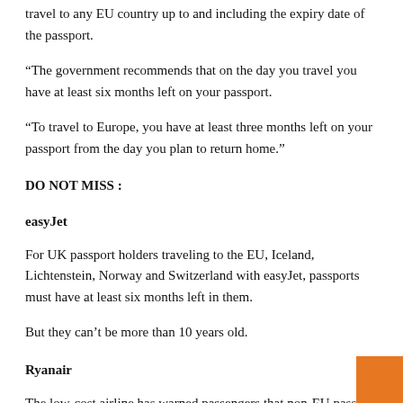travel to any EU country up to and including the expiry date of the passport.
“The government recommends that on the day you travel you have at least six months left on your passport.
“To travel to Europe, you have at least three months left on your passport from the day you plan to return home.”
DO NOT MISS :
easyJet
For UK passport holders traveling to the EU, Iceland, Lichtenstein, Norway and Switzerland with easyJet, passports must have at least six months left in them.
But they can’t be more than 10 years old.
Ryanair
The low-cost airline has warned passengers that non-EU passport holders must have a passport valid for at least three months from their departure